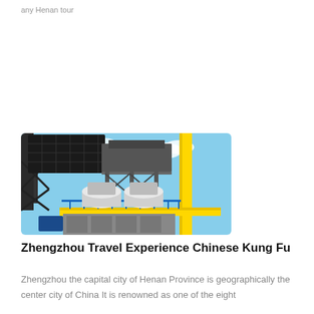any Henan tour
[Figure (photo): Industrial machinery — a large processing or crushing plant with yellow steel frame structure, yellow vertical pipe, metal conveyor equipment, and industrial crushers/mills, photographed against a blue sky]
Zhengzhou Travel Experience Chinese Kung Fu
Zhengzhou the capital city of Henan Province is geographically the center city of China It is renowned as one of the eight